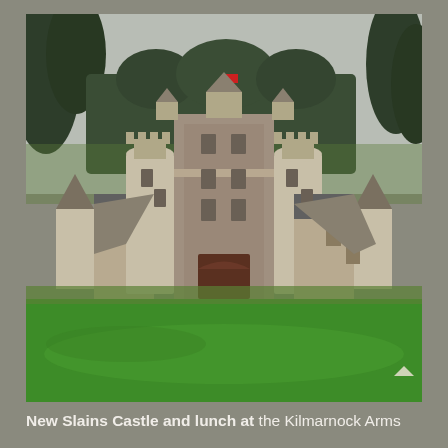[Figure (photo): Photograph of a Scottish castle (Castle Fraser or similar) viewed from the front across a wide green lawn. The castle is a large stone structure with multiple round turrets, crow-stepped gables, and a central tower. Trees line the background under an overcast grey sky. A small red flag flies from the top. The foreground is a lush green lawn.]
New Slains Castle and lunch at the Kilmarnock Arms